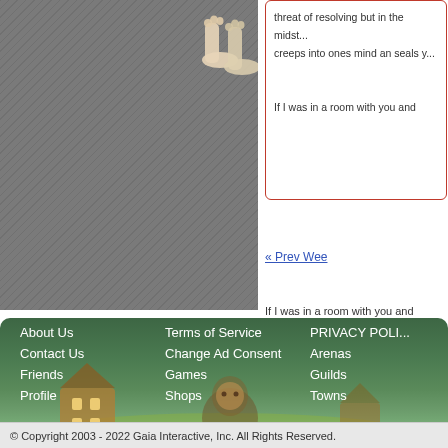[Figure (illustration): Partial avatar figure showing bare feet/legs against a grey textured sidebar background]
threat of resolving but in the midst... creeps into ones mind an seals y...
If I was in a room with you and
« Prev Wee
If I was in a room with you and
About Us
Contact Us
Friends
Profile
Terms of Service
Change Ad Consent
Games
Shops
PRIVACY POLI...
Arenas
Guilds
Towns
© Copyright 2003 - 2022 Gaia Interactive, Inc. All Rights Reserved.